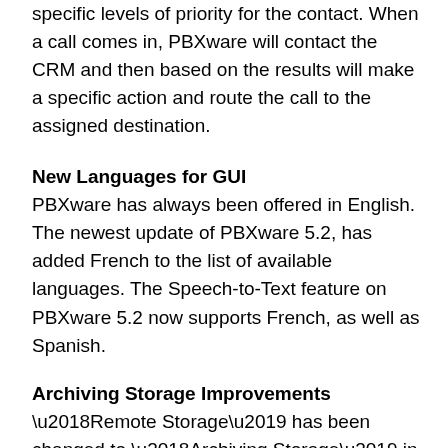specific levels of priority for the contact. When a call comes in, PBXware will contact the CRM and then based on the results will make a specific action and route the call to the assigned destination.
New Languages for GUI
PBXware has always been offered in English. The newest update of PBXware 5.2, has added French to the list of available languages. The Speech-to-Text feature on PBXware 5.2 now supports French, as well as Spanish.
Archiving Storage Improvements
‘Remote Storage’ has been changed to ‘Archiving Storage’ in the PBXware 5.2 update. Customers can now use Google Drive, Dropbox and Amazon S3 for their archiving storage. The search and retrieval feature that associates with archiving storage, makes